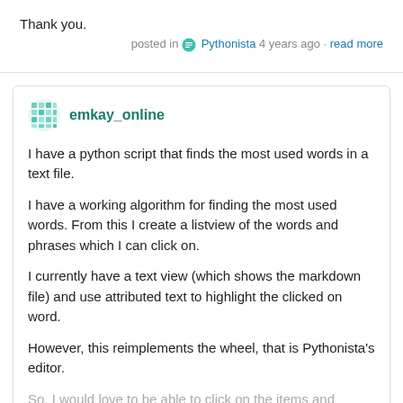Thank you.
posted in 💬 Pythonista 4 years ago • read more
emkay_online
I have a python script that finds the most used words in a text file.
I have a working algorithm for finding the most used words. From this I create a listview of the words and phrases which I can click on.
I currently have a text view (which shows the markdown file) and use attributed text to highlight the clicked on word.
However, this reimplements the wheel, that is Pythonista's editor.
So, I would love to be able to click on the items and highlight the occurrences (case-insensitive) in a Pythonista editor tab (so that I can quickly edit some of the frequently used words with
posted in 💬 Pythonista 4 years ago • read more